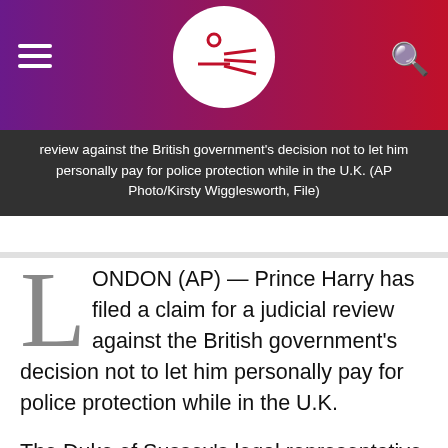AP News logo header with hamburger menu and search icon
review against the British government's decision not to let him personally pay for police protection while in the U.K. (AP Photo/Kirsty Wigglesworth, File)
LONDON (AP) — Prince Harry has filed a claim for a judicial review against the British government's decision not to let him personally pay for police protection while in the U.K.
The Duke of Sussex's legal representative said Saturday that Harry wants to bring his children